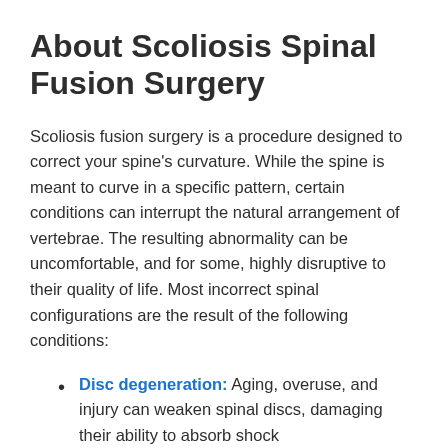About Scoliosis Spinal Fusion Surgery
Scoliosis fusion surgery is a procedure designed to correct your spine’s curvature. While the spine is meant to curve in a specific pattern, certain conditions can interrupt the natural arrangement of vertebrae. The resulting abnormality can be uncomfortable, and for some, highly disruptive to their quality of life. Most incorrect spinal configurations are the result of the following conditions:
Disc degeneration: Aging, overuse, and injury can weaken spinal discs, damaging their ability to absorb shock